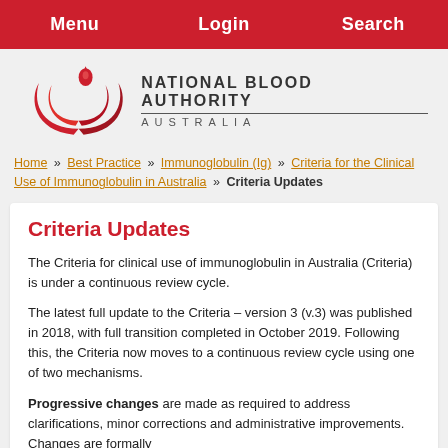Menu  Login  Search
[Figure (logo): National Blood Authority Australia logo with red swoosh and drop icon]
Home » Best Practice » Immunoglobulin (Ig) » Criteria for the Clinical Use of Immunoglobulin in Australia » Criteria Updates
Criteria Updates
The Criteria for clinical use of immunoglobulin in Australia (Criteria) is under a continuous review cycle.
The latest full update to the Criteria – version 3 (v.3) was published in 2018, with full transition completed in October 2019. Following this, the Criteria now moves to a continuous review cycle using one of two mechanisms.
Progressive changes are made as required to address clarifications, minor corrections and administrative improvements. Changes are formally